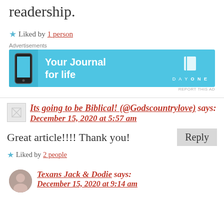readership.
★ Liked by 1 person
[Figure (illustration): Advertisement banner for Day One journal app with phone image and text 'Your Journal for life']
Its going to be Biblical! (@Godscountrylove) says: December 15, 2020 at 5:57 am
Great article!!!! Thank you!
★ Liked by 2 people
Texans Jack & Dodie says: December 15, 2020 at 9:14 am